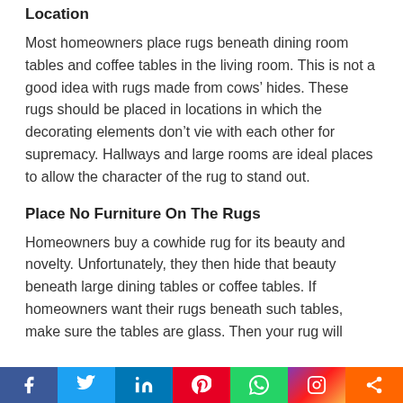Location
Most homeowners place rugs beneath dining room tables and coffee tables in the living room. This is not a good idea with rugs made from cows’ hides. These rugs should be placed in locations in which the decorating elements don’t vie with each other for supremacy. Hallways and large rooms are ideal places to allow the character of the rug to stand out.
Place No Furniture On The Rugs
Homeowners buy a cowhide rug for its beauty and novelty. Unfortunately, they then hide that beauty beneath large dining tables or coffee tables. If homeowners want their rugs beneath such tables, make sure the tables are glass. Then your rug will
f  in  p  (whatsapp)  (instagram)  <